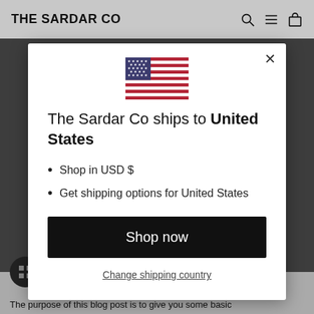THE SARDAR CO
[Figure (screenshot): A modal dialog on The Sardar Co website showing US flag, shipping information to United States, and a Shop now button.]
The Sardar Co ships to United States
Shop in USD $
Get shipping options for United States
Shop now
Change shipping country
The purpose of this blog post is to give you some basic